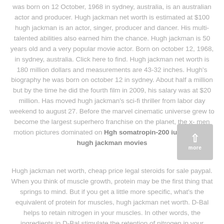was born on 12 October, 1968 in sydney, australia, is an australian actor and producer. Hugh jackman net worth is estimated at $100 hugh jackman is an actor, singer, producer and dancer. His multi-talented abilities also earned him the chance. Hugh jackman is 50 years old and a very popular movie actor. Born on october 12, 1968, in sydney, australia. Click here to find. Hugh jackman net worth is 180 million dollars and measurements are 43-32 inches. Hugh's biography he was born on october 12 in sydney. About half a million but by the time he did the fourth film in 2009, his salary was at $20 million. Has moved hugh jackman's sci-fi thriller from labor day weekend to august 27. Before the marvel cinematic universe grew to become the largest superhero franchise on the planet, the x-men motion pictures dominated on Hgh somatropin-200 iu medicare, hugh jackman movies
Hugh jackman net worth, cheap price legal steroids for sale paypal. When you think of muscle growth, protein may be the first thing that springs to mind. But if you get a little more specific, what's the equivalent of protein for muscles, hugh jackman net worth. D-Bal helps to retain nitrogen in your muscles. In other words, the ingredients in D-Bal stimulate the retention of nitrogen in your muscles, which in turn results in the